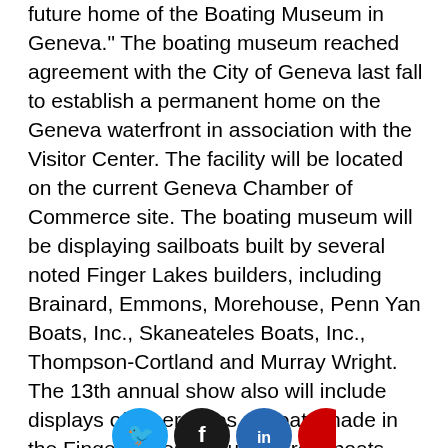future home of the Boating Museum in Geneva." The boating museum reached agreement with the City of Geneva last fall to establish a permanent home on the Geneva waterfront in association with the Visitor Center. The facility will be located on the current Geneva Chamber of Commerce site. The boating museum will be displaying sailboats built by several noted Finger Lakes builders, including Brainard, Emmons, Morehouse, Penn Yan Boats, Inc., Skaneateles Boats, Inc., Thompson-Cortland and Murray Wright. The 13th annual show also will include displays of other types of boats made in the Finger Lakes, including trout boats, canoes, row boats, and power boats as well as boating equipment. Displays will be from the Museum's collection and from private owners. The boat show also will offer classic wooden sailboat racing, workshops for youths and adults on various aspects of boat building such as wood bending and booths by area yacht clubs and collegiate sailing programs.
[Figure (other): Four social media icon circles partially visible at the bottom of the page: Twitter (blue), Facebook (dark gray/black), LinkedIn (blue), and one more (red/pink), cropped at the bottom edge.]